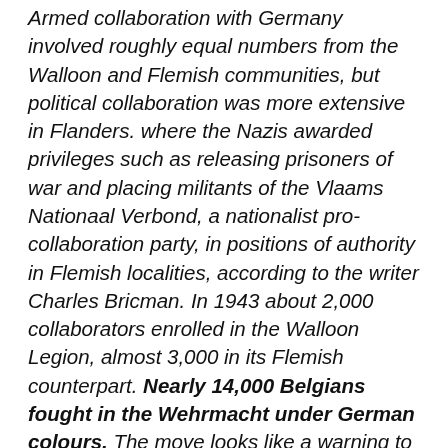Armed collaboration with Germany involved roughly equal numbers from the Walloon and Flemish communities, but political collaboration was more extensive in Flanders. where the Nazis awarded privileges such as releasing prisoners of war and placing militants of the Vlaams Nationaal Verbond, a nationalist pro-collaboration party, in positions of authority in Flemish localities, according to the writer Charles Bricman. In 1943 about 2,000 collaborators enrolled in the Walloon Legion, almost 3,000 in its Flemish counterpart. Nearly 14,000 Belgians fought in the Wehrmacht under German colours. The move looks like a warning to French-speaking politicians suspected of holding up negotiations to end the political stalemate. It might even herald a repeat of the events of 2007, when in the course of committee proceedings in parliament the Flemish majority unanimously voted to split the bilingual Brussels-Hal-Vilvorde district. "